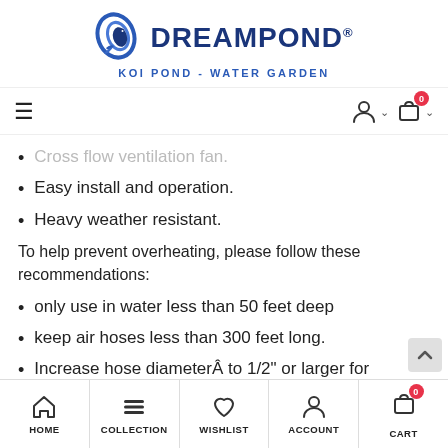[Figure (logo): DreamPond logo with koi fish icon and tagline KOI POND - WATER GARDEN]
Navigation bar with hamburger menu and user/cart icons
Cross flow ventilation fan.
Easy install and operation.
Heavy weather resistant.
To help prevent overheating, please follow these recommendations:
only use in water less than 50 feet deep
keep air hoses less than 300 feet long.
Increase hose diameterÂ to 1/2" or larger for
HOME | COLLECTION | WISHLIST | ACCOUNT | CART